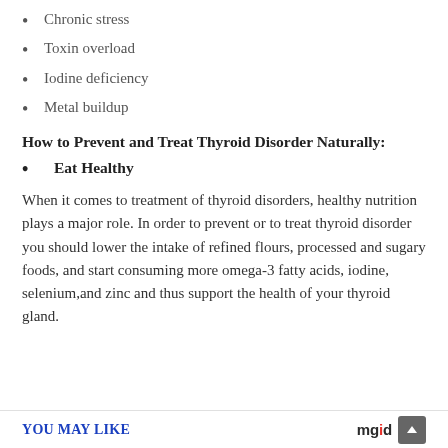Chronic stress
Toxin overload
Iodine deficiency
Metal buildup
How to Prevent and Treat Thyroid Disorder Naturally:
Eat Healthy
When it comes to treatment of thyroid disorders, healthy nutrition plays a major role. In order to prevent or to treat thyroid disorder you should lower the intake of refined flours, processed and sugary foods, and start consuming more omega-3 fatty acids, iodine, selenium,and zinc and thus support the health of your thyroid gland.
YOU MAY LIKE  mgid